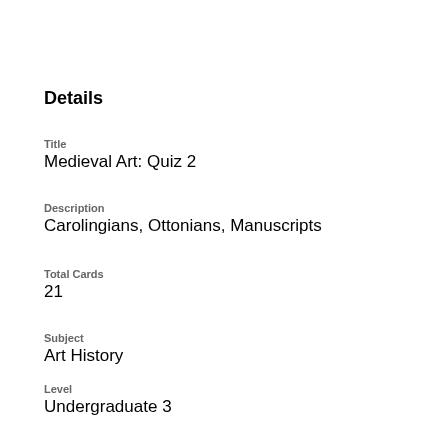Details
Title
Medieval Art: Quiz 2
Description
Carolingians, Ottonians, Manuscripts
Total Cards
21
Subject
Art History
Level
Undergraduate 3
Created
03/11/2013